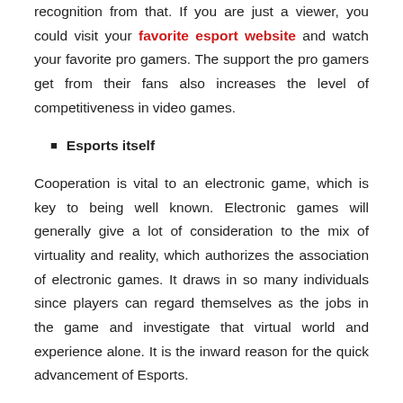recognition from that. If you are just a viewer, you could visit your favorite esport website and watch your favorite pro gamers. The support the pro gamers get from their fans also increases the level of competitiveness in video games.
Esports itself
Cooperation is vital to an electronic game, which is key to being well known. Electronic games will generally give a lot of consideration to the mix of virtuality and reality, which authorizes the association of electronic games. It draws in so many individuals since players can regard themselves as the jobs in the game and investigate that virtual world and experience alone. It is the inward reason for the quick advancement of Esports.
Commerce